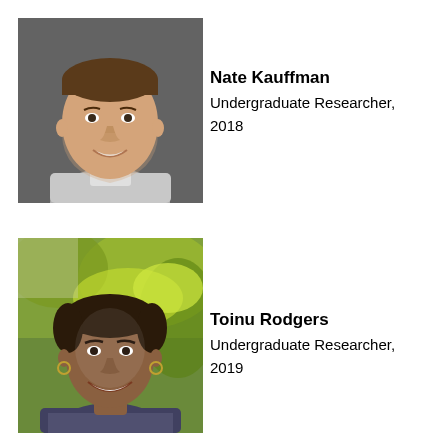[Figure (photo): Headshot of Nate Kauffman, a young man with short brown hair wearing a gray sweater over a collared shirt, smiling against a gray background.]
Nate Kauffman
Undergraduate Researcher, 2018
[Figure (photo): Outdoor photo of Toinu Rodgers, a woman with short dark hair wearing hoop earrings and a patterned top, smiling in front of green foliage.]
Toinu Rodgers
Undergraduate Researcher, 2019